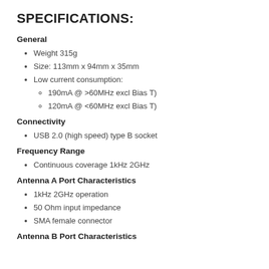SPECIFICATIONS:
General
Weight 315g
Size: 113mm x 94mm x 35mm
Low current consumption:
190mA @ >60MHz excl Bias T)
120mA @ <60MHz excl Bias T)
Connectivity
USB 2.0 (high speed) type B socket
Frequency Range
Continuous coverage 1kHz 2GHz
Antenna A Port Characteristics
1kHz 2GHz operation
50 Ohm input impedance
SMA female connector
Antenna B Port Characteristics